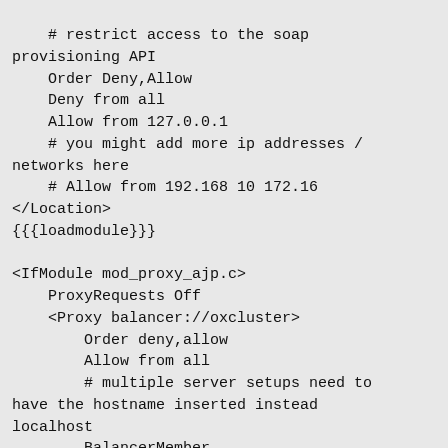# restrict access to the soap provisioning API
    Order Deny,Allow
    Deny from all
    Allow from 127.0.0.1
    # you might add more ip addresses / networks here
    # Allow from 192.168 10 172.16
</Location>
{{{loadmodule}}}

<IfModule mod_proxy_ajp.c>
    ProxyRequests Off
    <Proxy balancer://oxcluster>
        Order deny,allow
        Allow from all
        # multiple server setups need to have the hostname inserted instead localhost
        BalancerMember